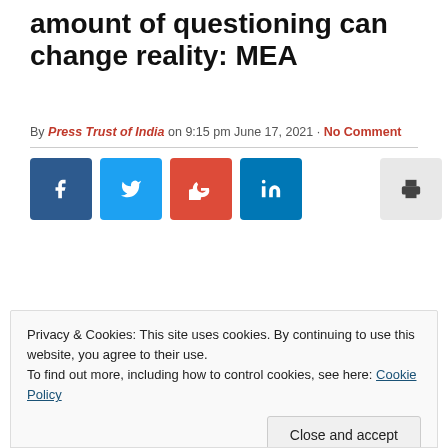amount of questioning can change reality: MEA
By Press Trust of India on 9:15 pm June 17, 2021 · No Comment
[Figure (other): Social media share buttons: Facebook, Twitter, Google+, LinkedIn, Print, Email]
Privacy & Cookies: This site uses cookies. By continuing to use this website, you agree to their use.
To find out more, including how to control cookies, see here: Cookie Policy
Close and accept